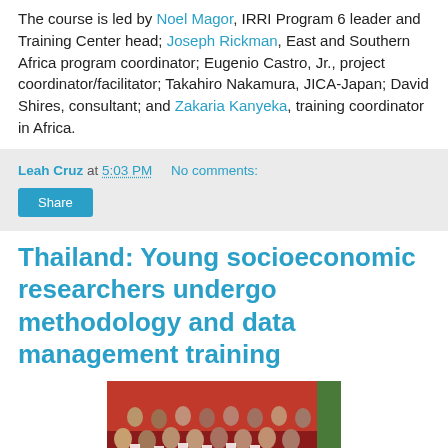The course is led by Noel Magor, IRRI Program 6 leader and Training Center head; Joseph Rickman, East and Southern Africa program coordinator; Eugenio Castro, Jr., project coordinator/facilitator; Takahiro Nakamura, JICA-Japan; David Shires, consultant; and Zakaria Kanyeka, training coordinator in Africa.
Leah Cruz at 5:03 PM   No comments:
Share
Thailand: Young socioeconomic researchers undergo methodology and data management training
[Figure (photo): Group photo of young researchers posing in front of a red backdrop, holding white papers/certificates.]